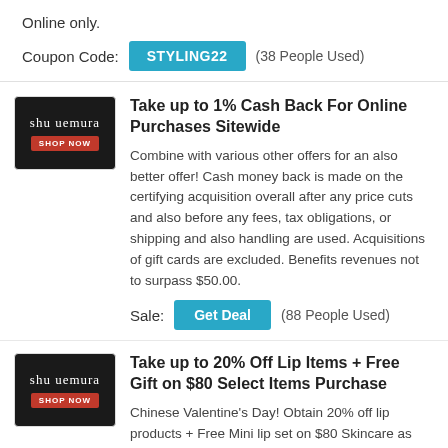Online only.
Coupon Code: STYLING22 (38 People Used)
[Figure (logo): Shu Uemura logo on black background with SHOP NOW button]
Take up to 1% Cash Back For Online Purchases Sitewide
Combine with various other offers for an also better offer! Cash money back is made on the certifying acquisition overall after any price cuts and also before any fees, tax obligations, or shipping and also handling are used. Acquisitions of gift cards are excluded. Benefits revenues not to surpass $50.00.
Sale: Get Deal (88 People Used)
[Figure (logo): Shu Uemura logo on black background with SHOP NOW button]
Take up to 20% Off Lip Items + Free Gift on $80 Select Items Purchase
Chinese Valentine's Day! Obtain 20% off lip products + Free Mini lip set on $80 Skincare as well as make-up things purchase. Gifts while supplies last.